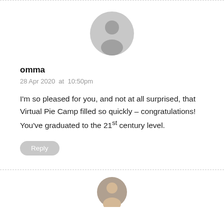[Figure (illustration): Generic grey placeholder user avatar icon — circular silhouette of a person on grey background]
omma
28 Apr 2020  at  10:50pm
I'm so pleased for you, and not at all surprised, that Virtual Pie Camp filled so quickly – congratulations! You've graduated to the 21st century level.
Reply
[Figure (photo): Partial view of a second commenter's avatar photo at the bottom of the page]